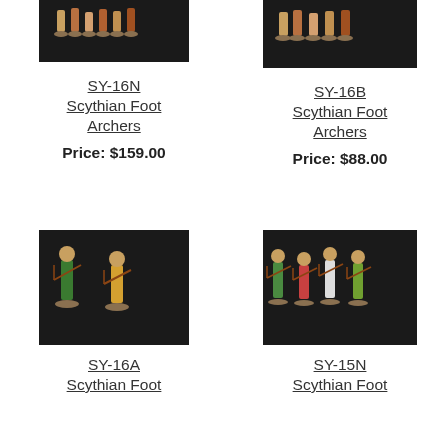[Figure (photo): Painted miniature figurines of Scythian Foot Archers (SY-16N), group of several figures on dark background]
SY-16N
Scythian Foot Archers
Price: $159.00
[Figure (photo): Painted miniature figurines of Scythian Foot Archers (SY-16B), group of several figures on dark background]
SY-16B
Scythian Foot Archers
Price: $88.00
[Figure (photo): Painted miniature figurines of Scythian Foot Archers (SY-16A), two archers drawing bows on dark background]
SY-16A
Scythian Foot
[Figure (photo): Painted miniature figurines of Scythian Foot Archers (SY-15N), four archers drawing bows on dark background]
SY-15N
Scythian Foot